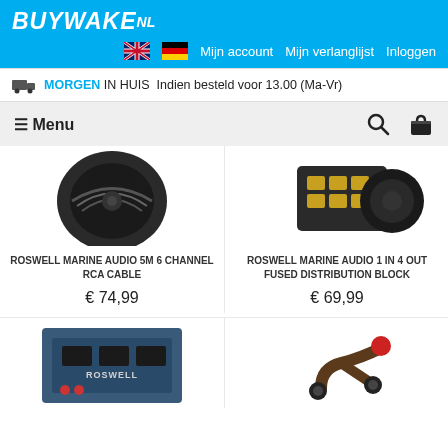BUYWAKE NL
Mijn account   Mijn verlanglijst   Inloggen
MORGEN IN HUIS Indien besteld voor 13.00 (Ma-Vr)
≡ Menu
ROSWELL MARINE AUDIO 5M 6 CHANNEL RCA CABLE
€ 74,99
ROSWELL MARINE AUDIO 1 IN 4 OUT FUSED DISTRIBUTION BLOCK
€ 69,99
[Figure (photo): Roswell Marine Audio 5m 6 Channel RCA Cable product photo]
[Figure (photo): Roswell Marine Audio 1 In 4 Out Fused Distribution Block product photo]
[Figure (photo): Roswell product - bottom left]
[Figure (photo): Roswell product - bottom right]